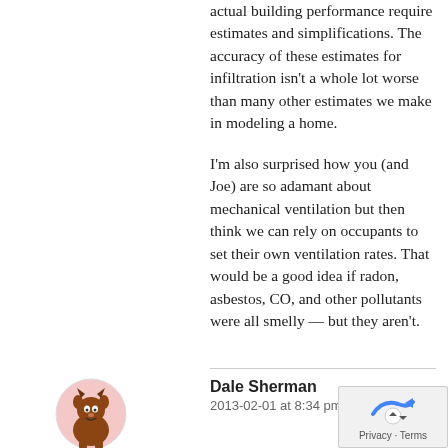actual building performance require estimates and simplifications. The accuracy of these estimates for infiltration isn't a whole lot worse than many other estimates we make in modeling a home.
I'm also surprised how you (and Joe) are so adamant about mechanical ventilation but then think we can rely on occupants to set their own ventilation rates. That would be a good idea if radon, asbestos, CO, and other pollutants were all smelly — but they aren't.
Dale Sherman
2013-02-01 at 8:34 pm
[Figure (illustration): Avatar illustration of a cartoon monster/creature character with brown fur/body, used as a comment profile picture]